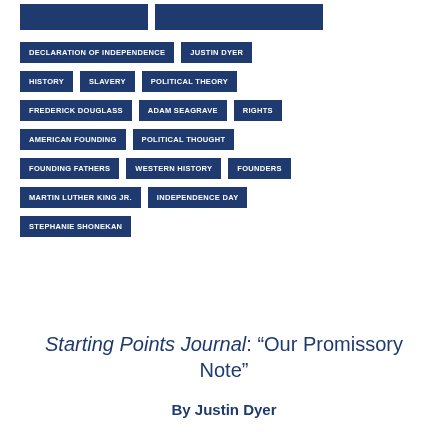DECLARATION OF INDEPENDENCE
JUSTIN DYER
HISTORY
SLAVERY
POLITICAL THEORY
FREDERICK DOUGLASS
ADAM SEAGRAVE
RIGHTS
AMERICAN FOUNDING
POLITICAL THOUGHT
FOUNDING FATHERS
WESTERN HISTORY
FOUNDERS
MARTIN LUTHER KING JR.
INDEPENDENCE DAY
STEPHANIE SHONEKAN
Starting Points Journal: “Our Promissory Note”
By Justin Dyer